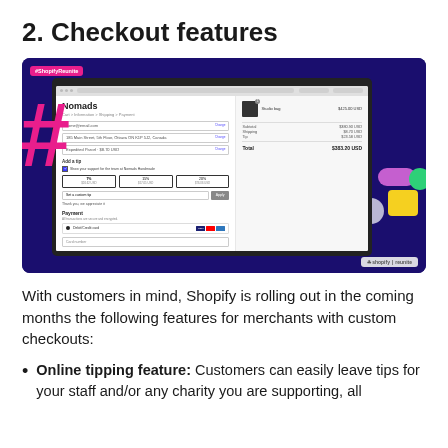2. Checkout features
[Figure (screenshot): Screenshot of a Shopify checkout page showing the Nomads brand checkout with online tipping feature, order summary, and payment options. Background is dark blue with decorative pink hashtag and colorful shapes. Tagged with #ShopifyReunite label.]
With customers in mind, Shopify is rolling out in the coming months the following features for merchants with custom checkouts:
Online tipping feature: Customers can easily leave tips for your staff and/or any charity you are supporting, all